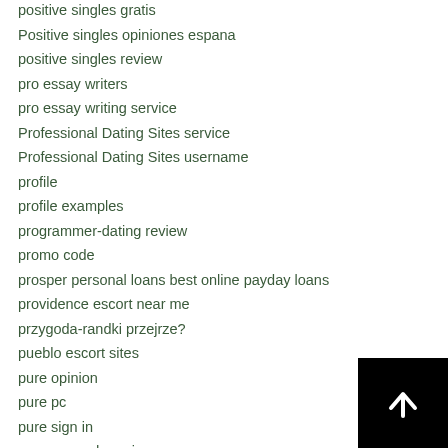positive singles gratis
Positive singles opiniones espana
positive singles review
pro essay writers
pro essay writing service
Professional Dating Sites service
Professional Dating Sites username
profile
profile examples
programmer-dating review
promo code
prosper personal loans best online payday loans
providence escort near me
przygoda-randki przejrze?
pueblo escort sites
pure opinion
pure pc
pure sign in
pussysaga de review
pussysaga it reviews